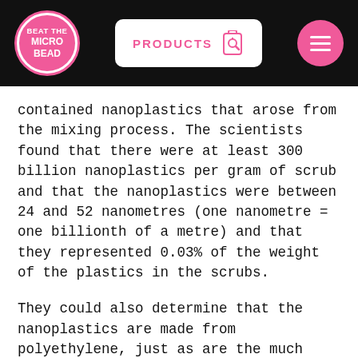[Figure (logo): Beat the Microbead logo — pink circle with white border and white text reading BEAT THE MICRO BEAD]
[Figure (other): PRODUCTS button with bottle/search icon on white rounded rectangle background]
[Figure (other): Pink circle hamburger menu icon with three white horizontal lines]
contained nanoplastics that arose from the mixing process. The scientists found that there were at least 300 billion nanoplastics per gram of scrub and that the nanoplastics were between 24 and 52 nanometres (one nanometre = one billionth of a metre) and that they represented 0.03% of the weight of the plastics in the scrubs.
They could also determine that the nanoplastics are made from polyethylene, just as are the much larger microbeads.
This is the first time that the presence of nanoplastics in scrubs containing plastic